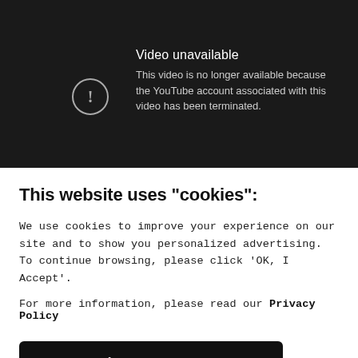[Figure (screenshot): YouTube video unavailable error screen on dark background. A circle with exclamation mark icon is shown beside text: 'Video unavailable' and 'This video is no longer available because the YouTube account associated with this video has been terminated.']
This website uses "cookies":
We use cookies to improve your experience on our site and to show you personalized advertising. To continue browsing, please click 'OK, I Accept'.
For more information, please read our Privacy Policy
Ok, I Accept